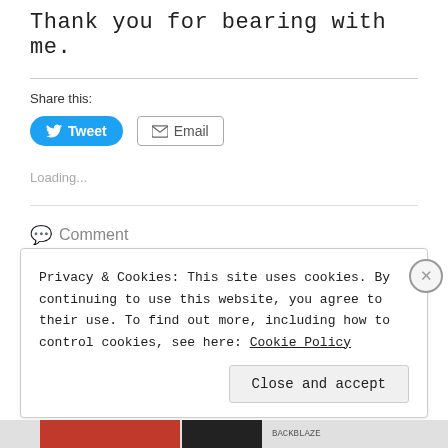Thank you for bearing with me.
Share this:
[Figure (screenshot): Tweet and Email share buttons]
Loading...
Comment
Privacy & Cookies: This site uses cookies. By continuing to use this website, you agree to their use. To find out more, including how to control cookies, see here: Cookie Policy
Close and accept